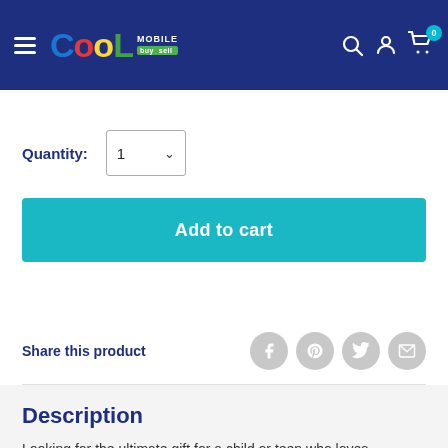Cool Mobile — navigation bar with logo, search, account, and cart icons
Quantity: 1
Add to cart
Share this product
Description
Looking for the ultimate gift for a child or teen who loves